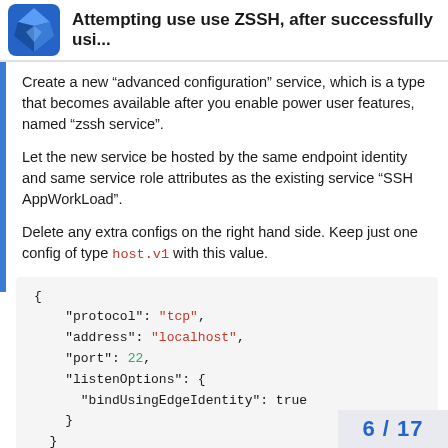Attempting use use ZSSH, after successfully usi...
Create a new “advanced configuration” service, which is a type that becomes available after you enable power user features, named “zssh service”.
Let the new service be hosted by the same endpoint identity and same service role attributes as the existing service “SSH AppWorkLoad”.
Delete any extra configs on the right hand side. Keep just one config of type host.v1 with this value.
{
    "protocol": "tcp",
    "address": "localhost",
    "port": 22,
    "listenOptions": {
      "bindUsingEdgeIdentity": true
    }
  }
6 / 17